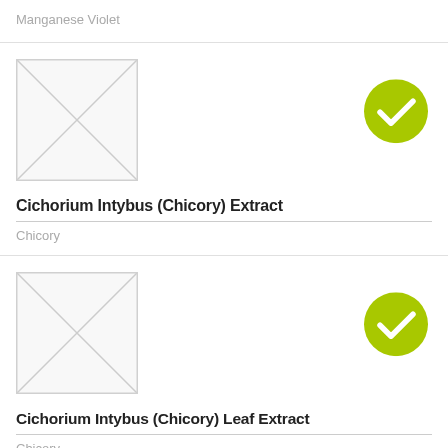Manganese Violet
[Figure (illustration): Placeholder image box with X diagonal lines indicating missing image]
Cichorium Intybus (Chicory) Extract
Chicory
[Figure (illustration): Placeholder image box with X diagonal lines indicating missing image]
Cichorium Intybus (Chicory) Leaf Extract
Chicory